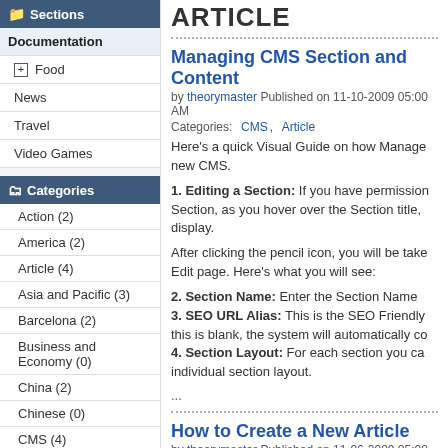Sections
Documentation
Food
News
Travel
Video Games
Categories
Action (2)
America (2)
Article (4)
Asia and Pacific (3)
Barcelona (2)
Business and Economy (0)
China (2)
Chinese (0)
CMS (4)
Continental (1)
Europe (1)
ARTICLE
Managing CMS Section and Content
by theorymaster Published on 11-10-2009 05:00 AM
Categories: CMS, Article
Here's a quick Visual Guide on how Manage new CMS.
1. Editing a Section: If you have permission Section, as you hover over the Section title, display.
After clicking the pencil icon, you will be taken to the Edit page. Here's what you will see:
2. Section Name: Enter the Section Name 3. SEO URL Alias: This is the SEO Friendly this is blank, the system will automatically co 4. Section Layout: For each section you ca individual section layout.
...
How to Create a New Article
by theorymaster Published on 11-06-2009 05:00 AM
Categories: CMS, Article, Insert Images